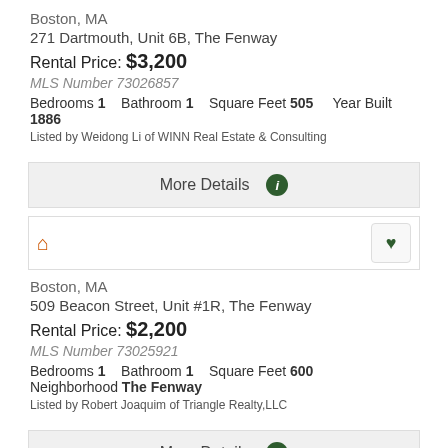Boston, MA
271 Dartmouth, Unit 6B, The Fenway
Rental Price: $3,200
MLS Number 73026857
Bedrooms 1    Bathroom 1    Square Feet 505    Year Built 1886
Listed by Weidong Li of WINN Real Estate & Consulting
More Details
Boston, MA
509 Beacon Street, Unit #1R, The Fenway
Rental Price: $2,200
MLS Number 73025921
Bedrooms 1    Bathroom 1    Square Feet 600    Neighborhood The Fenway
Listed by Robert Joaquim of Triangle Realty,LLC
More Details